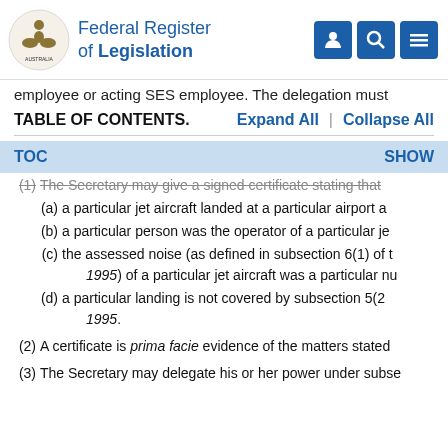Federal Register of Legislation
employee or acting SES employee. The delegation must
TABLE OF CONTENTS.
TOC   SHOW
(1) The Secretary may give a signed certificate stating that
(a) a particular jet aircraft landed at a particular airport a
(b) a particular person was the operator of a particular je
(c) the assessed noise (as defined in subsection 6(1) of t 1995) of a particular jet aircraft was a particular nu
(d) a particular landing is not covered by subsection 5(2 1995.
(2) A certificate is prima facie evidence of the matters stated
(3) The Secretary may delegate his or her power under subse